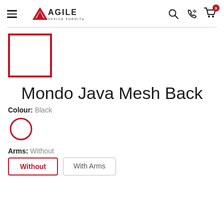Agile Office Furniture — navigation header with hamburger menu, logo, search, phone, and cart icons
[Figure (photo): Product thumbnail placeholder — red-bordered square image box, empty white interior]
Mondo Java Mesh Back
Colour: Black
[Figure (other): Colour swatch — red circle outline indicating Black colour option selected]
Arms: Without
Without | With Arms — toggle buttons, Without selected (red border)